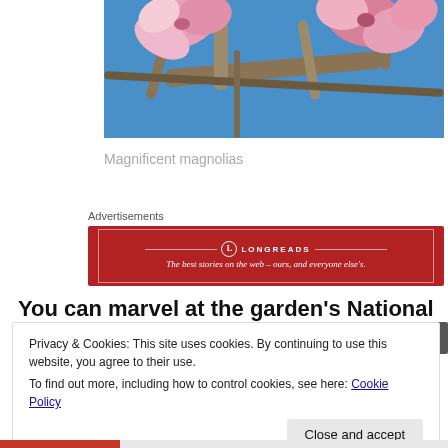[Figure (photo): Close-up photo of pink magnolia flowers on tree branches against a blue sky]
Magnificent magnolias
Advertisements
[Figure (other): Longreads advertisement banner: red background with white text 'LONGREADS' and tagline 'The best stories on the web – ours, and everyone else's.']
You can marvel at the garden's National Collection of
Privacy & Cookies: This site uses cookies. By continuing to use this website, you agree to their use.
To find out more, including how to control cookies, see here: Cookie Policy

Close and accept